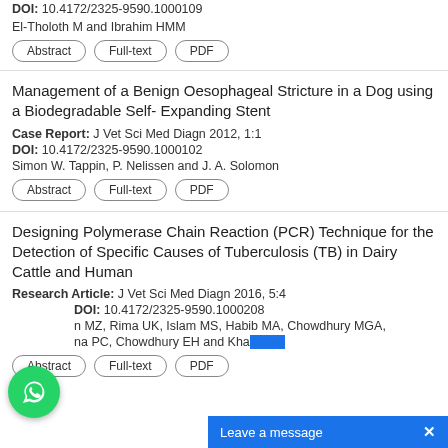DOI: 10.4172/2325-9590.1000109
El-Tholoth M and Ibrahim HMM
Abstract | Full-text | PDF
Management of a Benign Oesophageal Stricture in a Dog using a Biodegradable Self- Expanding Stent
Case Report: J Vet Sci Med Diagn 2012, 1:1
DOI: 10.4172/2325-9590.1000102
Simon W. Tappin, P. Nelissen and J. A. Solomon
Abstract | Full-text | PDF
Designing Polymerase Chain Reaction (PCR) Technique for the Detection of Specific Causes of Tuberculosis (TB) in Dairy Cattle and Human
Research Article: J Vet Sci Med Diagn 2016, 5:4
DOI: 10.4172/2325-9590.1000208
...n MZ, Rima UK, Islam MS, Habib MA, Chowdhury MGA, ...na PC, Chowdhury EH and Kha...
Abstract | Full-text | PDF